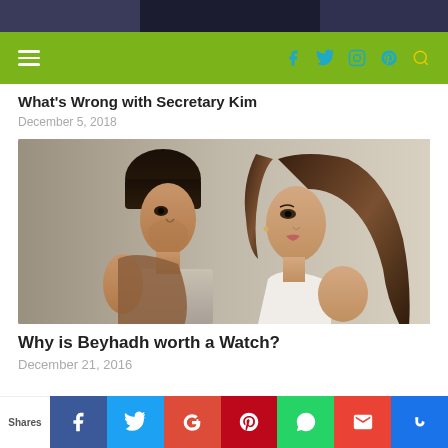[Figure (photo): Top portion of a photo showing two people, partially cropped]
Navigation bar with hamburger menu and social icons (Facebook, Twitter, Instagram, Pinterest, Search) on green background
What's Wrong with Secretary Kim
December 5, 2018
[Figure (photo): Photo of a man and woman looking at each other closely in a romantic pose - promotional image for Beyhadh]
Why is Beyhadh worth a Watch?
December 21, 2016
Shares | Facebook | Twitter | Google+ | Pinterest | WhatsApp | Gmail | Su